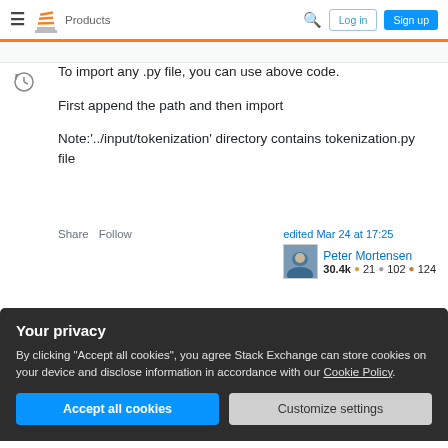Stack Overflow navigation bar with Products, Log in, Sign up
To import any .py file, you can use above code.
First append the path and then import
Note:'../input/tokenization' directory contains tokenization.py file
Share   Follow   edited Mar 24 at 17:25   Peter Mortensen   30.4k  21  102  124
Your privacy
By clicking "Accept all cookies", you agree Stack Exchange can store cookies on your device and disclose information in accordance with our Cookie Policy.
Accept all cookies   Customize settings